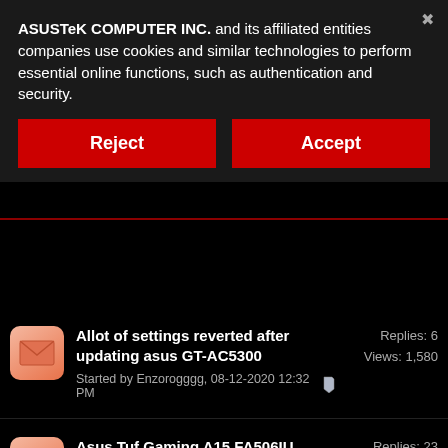ASUSTeK COMPUTER INC. and its affiliated entities companies use cookies and similar technologies to perform essential online functions, such as authentication and security.
Reject
Accept
Allot of settings reverted after updating asus GT-AC5300
Started by Enzorogggg, 08-12-2020 12:32 PM
Replies: 6
Views: 1,580
Asus Tuf Gaming A15 FA506IU Software/Driver issues
Started by Armanis, 07-31-2020 03:56 PM
Replies: 23
Views: 20,310